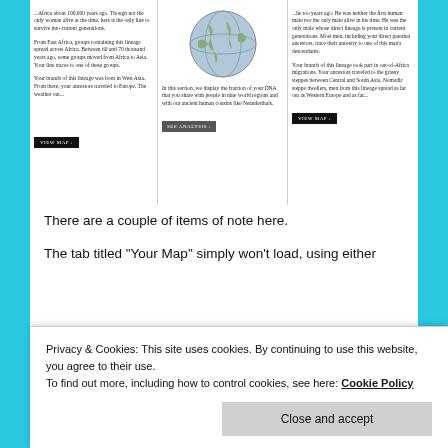[Figure (screenshot): Screenshot of a genealogy/ancestry website showing three panels with text about lineage, a globe graphic in the middle panel, a 'SEE ANALYSIS' button, and 'VIEW MAP' buttons in the left and right panels.]
There are a couple of items of note here.
The tab titled “Your Map” simply won’t load, using either
Privacy & Cookies: This site uses cookies. By continuing to use this website, you agree to their use.
To find out more, including how to control cookies, see here: Cookie Policy
Close and accept
Chris Tyler Smith, a researcher in the GH at the Sanger